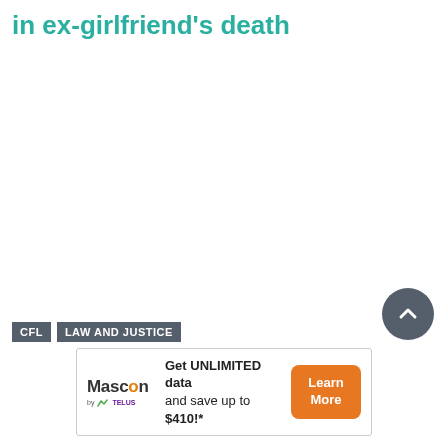in ex-girlfriend's death
CFL  LAW AND JUSTICE
[Figure (other): Advertisement banner for Mascon by TELUS offering unlimited data and savings up to $410]
Get UNLIMITED data and save up to $410!*  Learn More